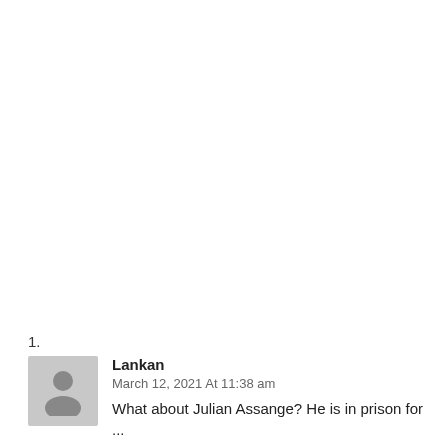1.
Lankan
March 12, 2021 At 11:38 am
What about Julian Assange? He is in prison for...